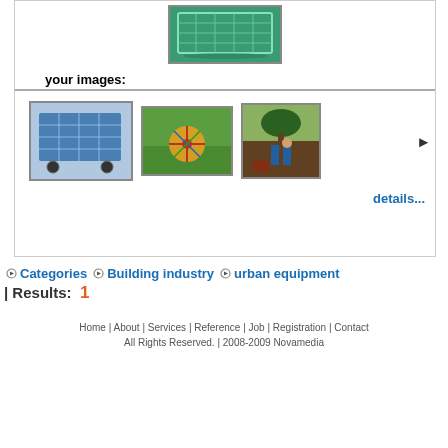[Figure (photo): Top product image showing a green mesh/wire container or basket]
your images:
[Figure (photo): Thumbnail 1: Blue metal wire mesh cage/trolley on wheels]
[Figure (photo): Thumbnail 2: Colorful playground merry-go-round on green grass]
[Figure (photo): Thumbnail 3: Garden/urban equipment composite image]
details...
Categories  Building industry  urban equipment
| Results:  1
Home | About | Services | Reference | Job | Registration | Contact
All Rights Reserved. | 2008-2009 Novamedia